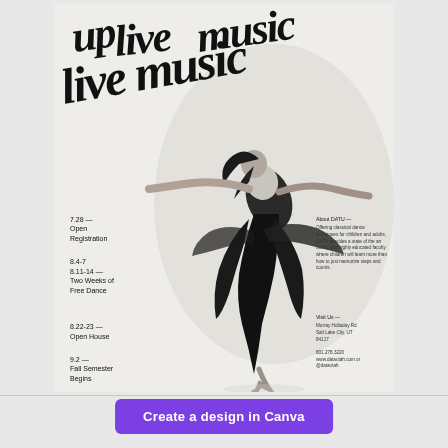[Figure (poster): Dance studio event poster with black and white photo of a dancer leaping with arms outstretched, wearing white top and black flowing skirt/pants. Overlaid with large calligraphic brush script text at the top. Left side lists schedule events. Right side has 'About DATU' and 'Visit Us' info sections.]
7.28 — Open Registration
8.4-7
8.11-14 — Two Weeks of Free Dance
8.22-23 — Open House
9.2 — Fall Semester Begins
About DATU — Offering classical dance techniques for children and adults, DATU provides a state of the art facility and highly educated faculty where children will learn more than how to just memorize steps and counts.
Visit Us — Murray Holladay Rd Salt Lake City, UT 84117
801.278.3220
www.datautah.com or @datautah
Create a design in Canva